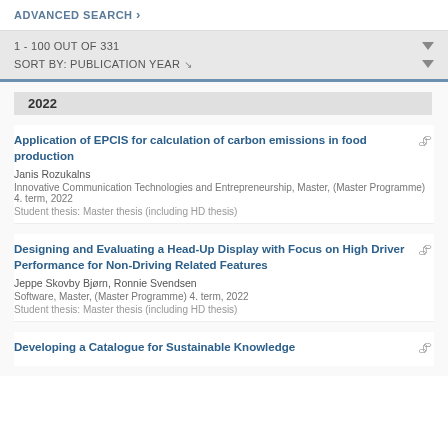ADVANCED SEARCH >
1 - 100 OUT OF 331
SORT BY: PUBLICATION YEAR
2022
Application of EPCIS for calculation of carbon emissions in food production
Janis Rozukalns
Innovative Communication Technologies and Entrepreneurship, Master, (Master Programme) 4. term, 2022
Student thesis: Master thesis (including HD thesis)
Designing and Evaluating a Head-Up Display with Focus on High Driver Performance for Non-Driving Related Features
Jeppe Skovby Bjørn, Ronnie Svendsen
Software, Master, (Master Programme) 4. term, 2022
Student thesis: Master thesis (including HD thesis)
Developing a Catalogue for Sustainable Knowledge